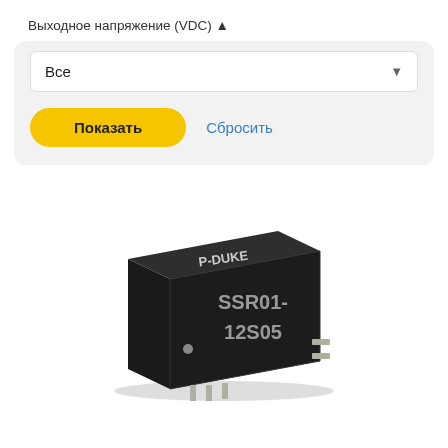Выходное напряжение (VDC) ▲
Все
Показать
Сбросить
[Figure (photo): Photo of a P-DUKE SSR01-12S05 DC-DC converter module, a small black rectangular electronic component with white text labeling on top, with metal pins visible at the bottom.]